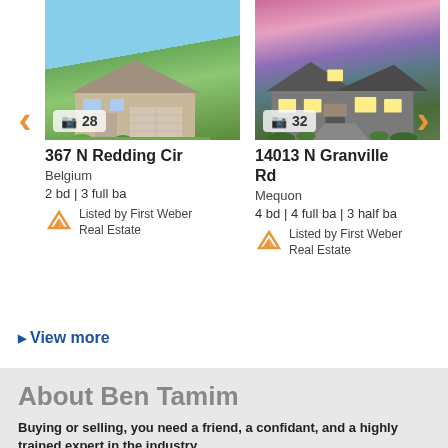[Figure (photo): House photo - 367 N Redding Cir, Belgium. Beige ranch home with green lawn and attached garage.]
28
367 N Redding Cir
Belgium
2 bd | 3 full ba
Listed by First Weber Real Estate
[Figure (photo): House photo - 14013 N Granville Rd, Mequon. Stone/brick Tudor-style home with pink and purple sunset sky.]
32
14013 N Granville Rd
Mequon
4 bd | 4 full ba | 3 half ba
Listed by First Weber Real Estate
View more
About Ben Tamim
Buying or selling, you need a friend, a confidant, and a highly trained expert in the industry.